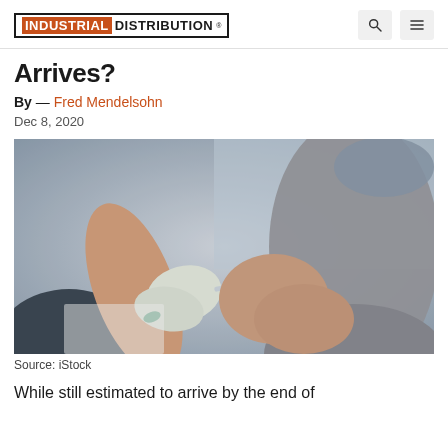INDUSTRIAL DISTRIBUTION
Arrives?
By — Fred Mendelsohn
Dec 8, 2020
[Figure (photo): A healthcare worker in gloves administering a vaccine injection into a patient's arm. The patient is wearing a gray shirt and a mask. Medical setting with blurred background.]
Source: iStock
While still estimated to arrive by the end of